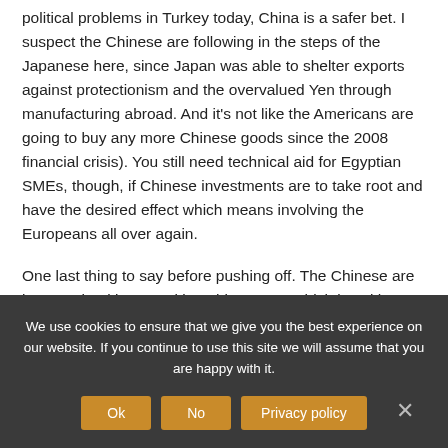political problems in Turkey today, China is a safer bet. I suspect the Chinese are following in the steps of the Japanese here, since Japan was able to shelter exports against protectionism and the overvalued Yen through manufacturing abroad. And it's not like the Americans are going to buy any more Chinese goods since the 2008 financial crisis). You still need technical aid for Egyptian SMEs, though, if Chinese investments are to take root and have the desired effect which means involving the Europeans all over again.
One last thing to say before pushing off. The Chinese are keen on hooking Israel into this system which is neither good politically or economically. Politically it will cut the Palestinians out of the picture, leading to more instability in the region, and economically it will circumvent the Suez Canal and with that the new industrial zone there. (Say what you want about the new extension dug for the Canal, I'm all for it because it'll help undercut Israeli ambitions to circumvent us). The
We use cookies to ensure that we give you the best experience on our website. If you continue to use this site we will assume that you are happy with it.